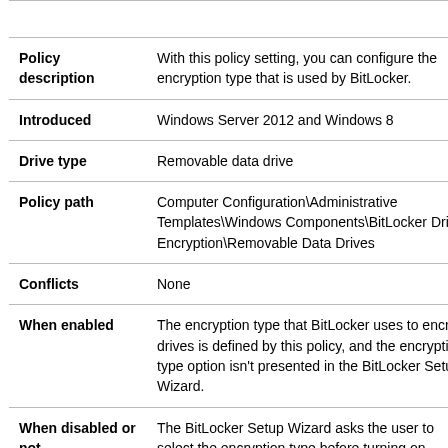|  |  |
| Policy description | With this policy setting, you can configure the encryption type that is used by BitLocker. |
| Introduced | Windows Server 2012 and Windows 8 |
| Drive type | Removable data drive |
| Policy path | Computer Configuration\Administrative Templates\Windows Components\BitLocker Drive Encryption\Removable Data Drives |
| Conflicts | None |
| When enabled | The encryption type that BitLocker uses to encrypt drives is defined by this policy, and the encryption type option isn't presented in the BitLocker Setup Wizard. |
| When disabled or not | The BitLocker Setup Wizard asks the user to select the encryption type before turning on BitLocker. |